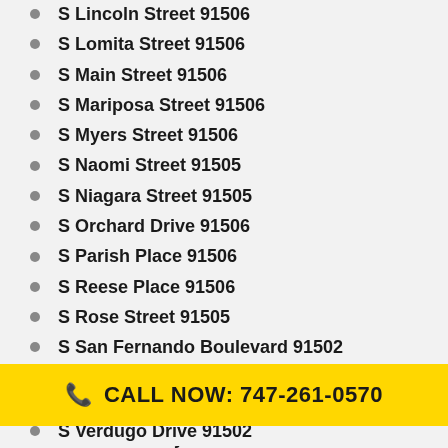S Lincoln Street 91506
S Lomita Street 91506
S Main Street 91506
S Mariposa Street 91506
S Myers Street 91506
S Naomi Street 91505
S Niagara Street 91505
S Orchard Drive 91506
S Parish Place 91506
S Reese Place 91506
S Rose Street 91505
S San Fernando Boulevard 91502
S Shelton Street 91506
S Sparks Street 91506
S Sunset Canyon Drive 91501
S Valley Street 91505
CALL NOW: 747-261-0570
S Verdugo Drive 91502